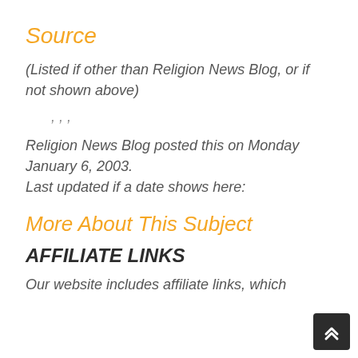Source
(Listed if other than Religion News Blog, or if not shown above)
, , ,
Religion News Blog posted this on Monday January 6, 2003.
Last updated if a date shows here:
More About This Subject
AFFILIATE LINKS
Our website includes affiliate links, which